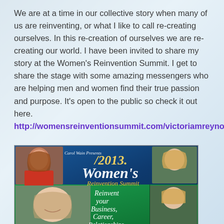We are at a time in our collective story when many of us are reinventing, or what I like to call re-creating ourselves. In this re-creation of ourselves we are re-creating our world. I have been invited to share my story at the Women's Reinvention Summit. I get to share the stage with some amazing messengers who are helping men and women find their true passion and purpose. It's open to the public so check it out here. http://womensreinventionsummit.com/victoriamreynolds/2.
[Figure (photo): Banner image for the 2013 Women's Reinvention Summit presented by Carol Wain, showing multiple women's photos on a blue/green background with text 'Reinvent your Business, Career, Relationships']